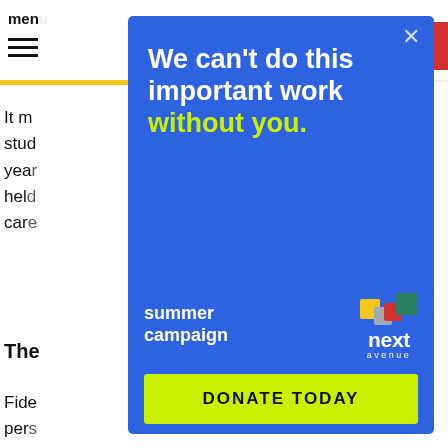menu
It m
stud
year
held
care
The
Fide
pers
afte
wor
Edu
beg
disc
[Figure (screenshot): Next Avenue donation modal overlay on blue background with headline 'We can't do this important work without you.', summer campaign label, Next Avenue logo with colorful squares icon, and a yellow-green 'DONATE TODAY' button.]